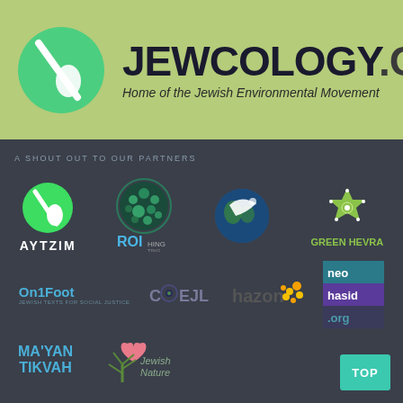[Figure (logo): Jewcology.org logo with green circle containing a leaf/droplet icon, site name in bold dark text, subtitle 'Home of the Jewish Environmental Movement' on light green background]
A SHOUT OUT TO OUR PARTNERS
[Figure (logo): Partner logos grid: Aytzim (green circle with slash/droplet icon), ROI (green dotted globe), Canfei Nesharim (globe with bird), Green Hevra (star), On1Foot (Jewish texts for social justice), Coejl, Hazon (orange flower), Neo Hasid .org, Ma'yan Tikvah, Jewish Nature]
TOP